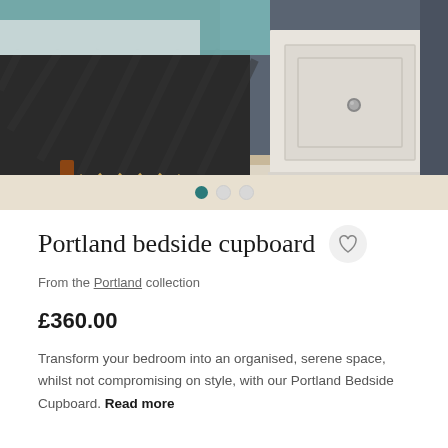[Figure (photo): Bedroom scene showing a dark knit throw over a bed with a teal/mint accent, next to a white painted bedside cupboard with a round knob, against a dark grey wall with light wood floor]
Portland bedside cupboard
From the Portland collection
£360.00
Transform your bedroom into an organised, serene space, whilst not compromising on style, with our Portland Bedside Cupboard. Read more